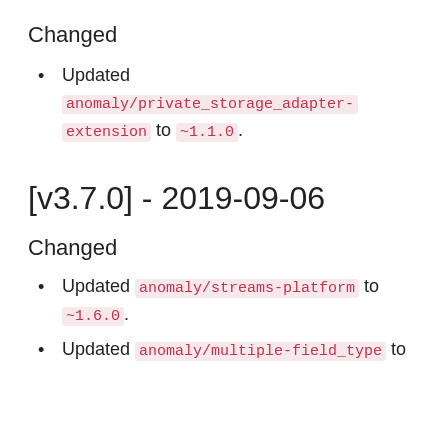Changed
Updated anomaly/private_storage_adapter-extension to ~1.1.0.
[v3.7.0] - 2019-09-06
Changed
Updated anomaly/streams-platform to ~1.6.0.
Updated anomaly/multiple-field_type to